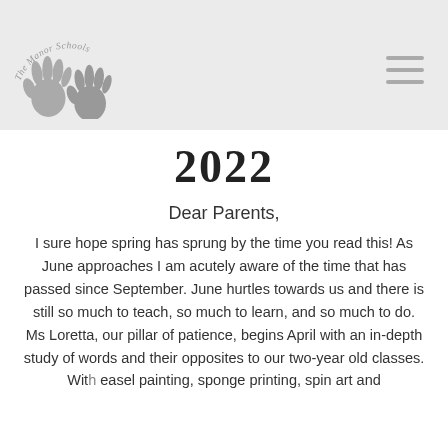[Figure (logo): The Manor Schools logo with two child handprints and arched text reading 'The Manor Schools']
2022
Dear Parents,
I sure hope spring has sprung by the time you read this! As June approaches I am acutely aware of the time that has passed since September. June hurtles towards us and there is still so much to teach, so much to learn, and so much to do.
Ms Loretta, our pillar of patience, begins April with an in-depth study of words and their opposites to our two-year old classes. With easel painting, sponge printing, spin art and